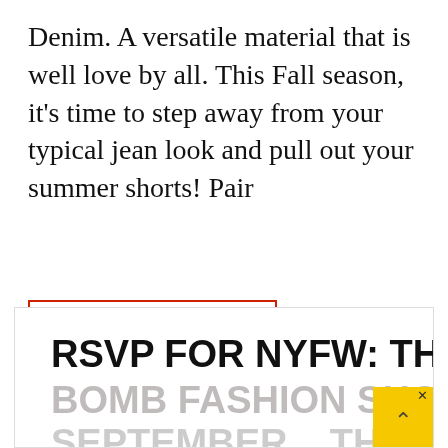Denim. A versatile material that is well love by all. This Fall season, it's time to step away from your typical jean look and pull out your summer shorts! Pair
CONTINUE READING
Posted On : November 13, 2019   Published By : Limsan Boulter
RSVP FOR NYFW: THE BOMB FASHION SHOW SEPTEMBER... THU!